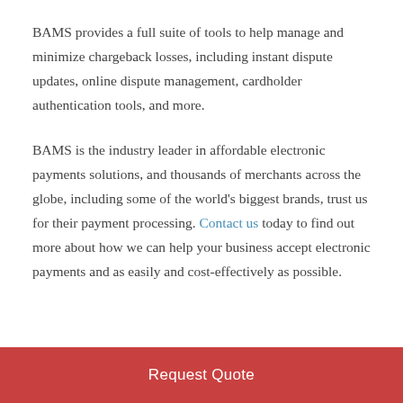BAMS provides a full suite of tools to help manage and minimize chargeback losses, including instant dispute updates, online dispute management, cardholder authentication tools, and more.
BAMS is the industry leader in affordable electronic payments solutions, and thousands of merchants across the globe, including some of the world's biggest brands, trust us for their payment processing. Contact us today to find out more about how we can help your business accept electronic payments and as easily and cost-effectively as possible.
Request Quote